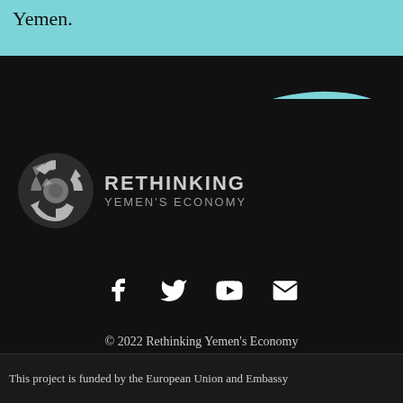Yemen.
[Figure (logo): Rethinking Yemen's Economy logo with circular arrow icon and text]
[Figure (infographic): Social media icons: Facebook, Twitter, YouTube, Email]
© 2022 Rethinking Yemen's Economy
This project is funded by the European Union and Embassy